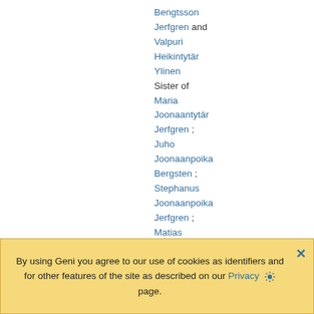Bengtsson Jerfgren and Valpuri Heikintytär Ylinen Sister of Maria Joonaantytär Jerfgren ; Juho Joonaanpoika Bergsten ; Stephanus Joonaanpoika Jerfgren ; Matias Joonaanpoika Jerfgren ; Kristiina Joonaantytär Jerfgren and
By using Geni you agree to our use of cookies as identifiers and for other features of the site as described on our Privacy page.